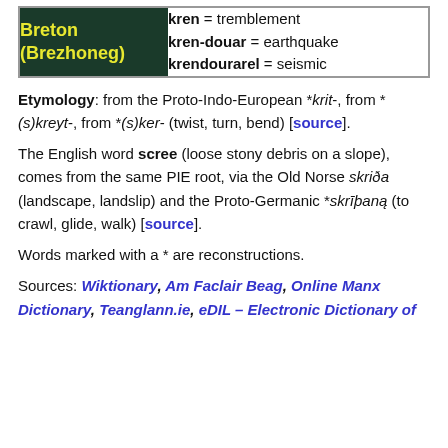| Breton (Brezhoneg) | kren = tremblement
kren-douar = earthquake
krendourarel = seismic |
Etymology: from the Proto-Indo-European *krit-, from *(s)kreyt-, from *(s)ker- (twist, turn, bend) [source].
The English word scree (loose stony debris on a slope), comes from the same PIE root, via the Old Norse skriða (landscape, landslip) and the Proto-Germanic *skrīþaną (to crawl, glide, walk) [source].
Words marked with a * are reconstructions.
Sources: Wiktionary, Am Faclair Beag, Online Manx Dictionary, Teanglann.ie, eDIL – Electronic Dictionary of